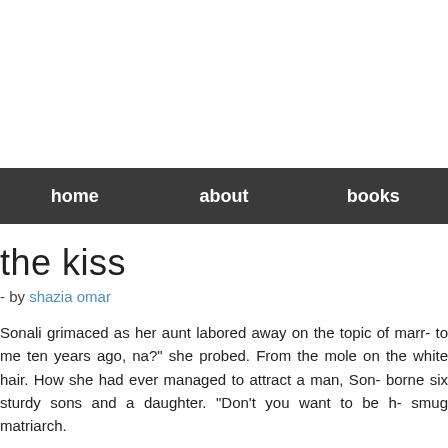home   about   books
the kiss
- by shazia omar
Sonali grimaced as her aunt labored away on the topic of marr- to me ten years ago, na?" she probed. From the mole on the white hair. How she had ever managed to attract a man, Son- borne six sturdy sons and a daughter. "Don't you want to be h- smug matriarch.
"Khalamoni, marriage is not the key to happiness," retorted S- She pinched her aunt's pudgy cheek affectionately. "I have you,